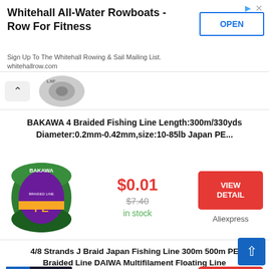[Figure (screenshot): Advertisement banner for Whitehall All-Water Rowboats with OPEN button, triangle and X icons]
Whitehall All-Water Rowboats - Row For Fitness
Sign Up To The Whitehall Rowing & Sail Mailing List. whitehallrow.com
[Figure (photo): Partial product image from previous listing, fishing reel, with up-arrow navigation button]
BAKAWA 4 Braided Fishing Line Length:300m/330yds Diameter:0.2mm-0.42mm,size:10-85lb Japan PE...
[Figure (photo): BAKAWA branded green braided fishing line spool with purple and yellow label]
$0.01
$7.40
in stock
VIEW DETAIL
Aliexpress
4/8 Strands J Braid Japan Fishing Line 300m 500m PE Braided Line DAIWA Multifilament Floating Line
[Figure (photo): DAIWA Walk Fish J-Braid fishing line spool partially visible]
$0.01
$5.05
VIEW DETAIL